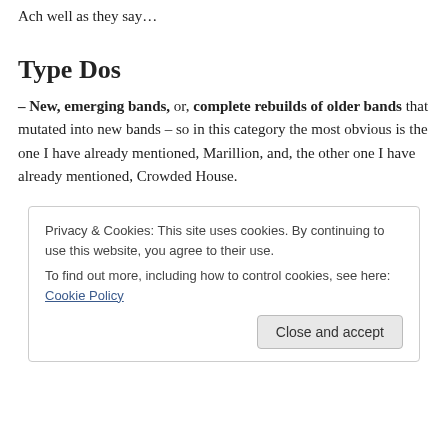Ach well as they say…
Type Dos
– New, emerging bands, or, complete rebuilds of older bands that mutated into new bands – so in this category the most obvious is the one I have already mentioned, Marillion, and, the other one I have already mentioned, Crowded House.
Privacy & Cookies: This site uses cookies. By continuing to use this website, you agree to their use.
To find out more, including how to control cookies, see here: Cookie Policy
Close and accept